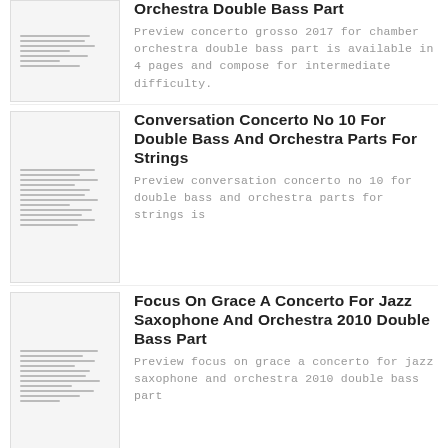[Figure (illustration): Thumbnail of sheet music for concerto grosso double bass part]
Orchestra Double Bass Part
Preview concerto grosso 2017 for chamber orchestra double bass part is available in 4 pages and compose for intermediate difficulty.
[Figure (illustration): Thumbnail of sheet music for conversation concerto no 10]
Conversation Concerto No 10 For Double Bass And Orchestra Parts For Strings
Preview conversation concerto no 10 for double bass and orchestra parts for strings is
[Figure (illustration): Thumbnail of sheet music for focus on grace concerto]
Focus On Grace A Concerto For Jazz Saxophone And Orchestra 2010 Double Bass Part
Preview focus on grace a concerto for jazz saxophone and orchestra 2010 double bass part
[Figure (illustration): Thumbnail of sheet music for Brazilian trumpet double concerto]
Brazilian Trumpet Double Concerto Part2 Individual Orchestra Parts
Preview brazilian trumpet double concerto part2 individual orchestra parts is available in 6 pages and compose for advanced difficulty. This
[Figure (illustration): Thumbnail with clock image for Suite For A Short Time Chamber Orchestra]
Suite For A Short Time Chamber Orchestra
Preview suite for a short time chamber orchestra